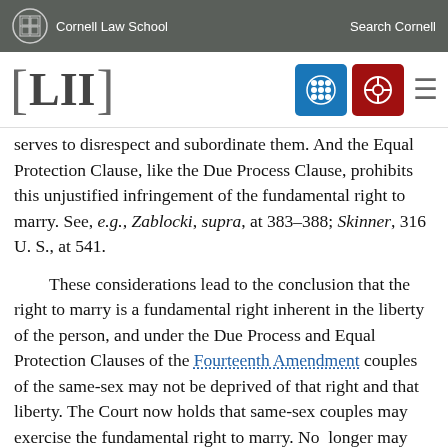Cornell Law School | Search Cornell
[Figure (logo): LII (Legal Information Institute) navigation bar with Cornell Law School branding, blue grid icon, red search icon, and hamburger menu]
serves to disrespect and subordinate them. And the Equal Protection Clause, like the Due Process Clause, prohibits this unjustified infringement of the fundamental right to marry. See, e.g., Zablocki, supra, at 383–388; Skinner, 316 U. S., at 541.
These considerations lead to the conclusion that the right to marry is a fundamental right inherent in the liberty of the person, and under the Due Process and Equal Protection Clauses of the Fourteenth Amendment couples of the same-sex may not be deprived of that right and that liberty. The Court now holds that same-sex couples may exercise the fundamental right to marry. No longer may this liberty be denied to them. Baker v. Nelson